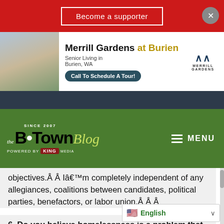[Figure (screenshot): Red promotional banner with 'Become a supporter' button and close X button]
[Figure (screenshot): Advertisement for Merrill Gardens at Burien senior living, with photo of two elderly women, logo, and 'Call To Schedule A Tour!' button]
[Figure (screenshot): Dark navigation bar]
[Figure (screenshot): Green header with B-Town Blog logo (Since 2007, Powered by King Media) and MENU button]
objectives.Â Â  Iâ€™m completely independent of any allegiances, coalitions between candidates, political parties, benefactors, or labor union.Â Â Â
6. Do you believe homelessness is a problem that Burien can alleviate or reduce, and how should the city handle the problems of homelessness?
Iâ€™ve thought about ho...
[Figure (screenshot): English language selector widget with US flag]